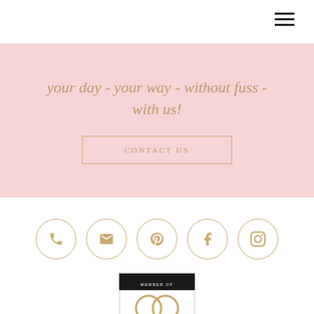[Figure (infographic): Hamburger menu icon (three horizontal lines) in top right corner]
your day - your way - without fuss - with us!
CONTACT US
[Figure (infographic): Row of five gold circular social media icons: phone, email, Pinterest, Facebook, Instagram]
[Figure (infographic): Member Of badge with interlocking rings logo at the bottom of the page]